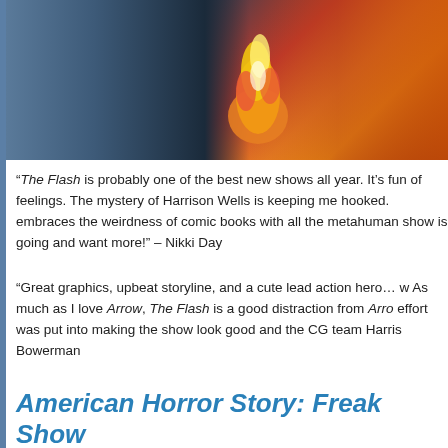[Figure (photo): Action shot from The Flash TV show, showing a figure with fire/energy effects on a city street background]
“The Flash is probably one of the best new shows all year. It’s fun... of feelings. The mystery of Harrison Wells is keeping me hooked. ... embraces the weirdness of comic books with all the metahuman... show is going and want more!” – Nikki Day
“Great graphics, upbeat storyline, and a cute lead action hero… w... As much as I love Arrow, The Flash is a good distraction from Arro... effort was put into making the show look good and the CG team... Harris Bowerman
American Horror Story: Freak Show
“I seemed to drift away from the show after the first season, but...